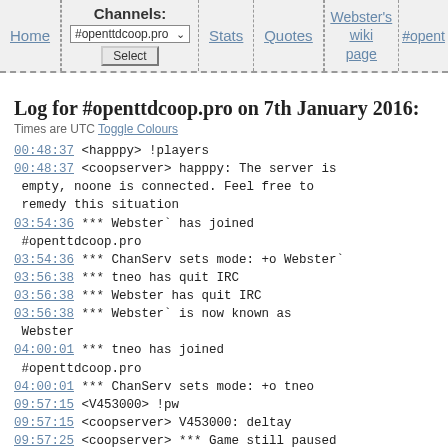Home | Channels: #openttdcoop.pro [Select] | Stats | Quotes | Webster's wiki page | #opent
Log for #openttdcoop.pro on 7th January 2016:
Times are UTC Toggle Colours
00:48:37  <happpy> !players
00:48:37  <coopserver> happpy: The server is empty, noone is connected. Feel free to remedy this situation
03:54:36  *** Webster` has joined #openttdcoop.pro
03:54:36  *** ChanServ sets mode: +o Webster`
03:56:38  *** tneo has quit IRC
03:56:38  *** Webster has quit IRC
03:56:38  *** Webster` is now known as Webster
04:00:01  *** tneo has joined #openttdcoop.pro
04:00:01  *** ChanServ sets mode: +o tneo
09:57:15  <V453000> !pw
09:57:15  <coopserver> V453000: deltay
09:57:25  <coopserver> *** Game still paused (connecting clients, number of players)
09:57:27  <coopserver> *** V453000 has joined